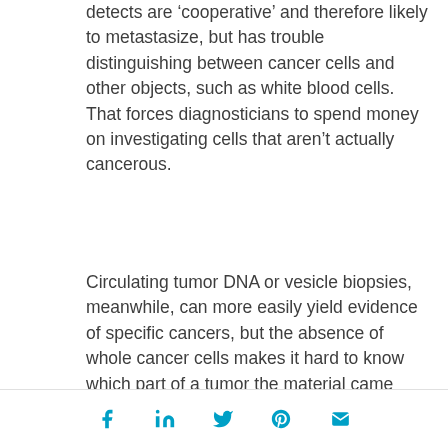detects are 'cooperative' and therefore likely to metastasize, but has trouble distinguishing between cancer cells and other objects, such as white blood cells. That forces diagnosticians to spend money on investigating cells that aren't actually cancerous.
Circulating tumor DNA or vesicle biopsies, meanwhile, can more easily yield evidence of specific cancers, but the absence of whole cancer cells makes it hard to know which part of a tumor the material came from, which in turn makes it hard to know whether the cancer that you find is likely to metastasize.
[social share icons: Facebook, LinkedIn, Twitter, Pinterest, Email]